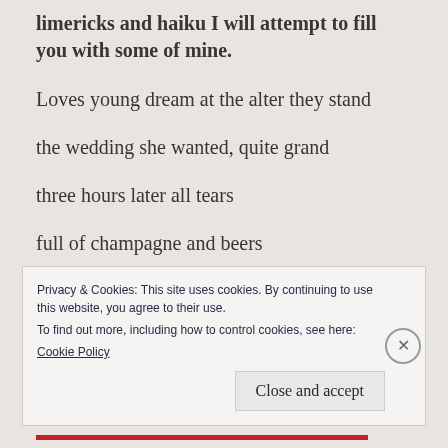limericks and haiku I will attempt to fill you with some of mine.
Loves young dream at the alter they stand
the wedding she wanted, quite grand
three hours later all tears
full of champagne and beers
Privacy & Cookies: This site uses cookies. By continuing to use this website, you agree to their use.
To find out more, including how to control cookies, see here:
Cookie Policy
Close and accept